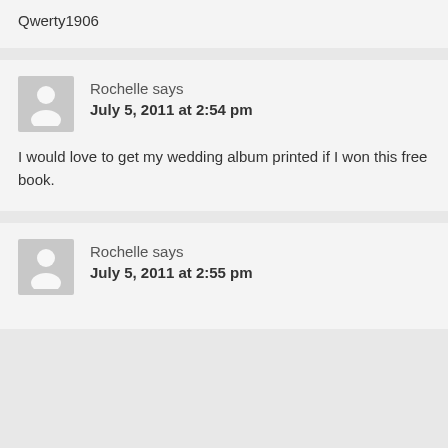Qwerty1906
Rochelle says
July 5, 2011 at 2:54 pm
I would love to get my wedding album printed if I won this free book.
Rochelle says
July 5, 2011 at 2:55 pm